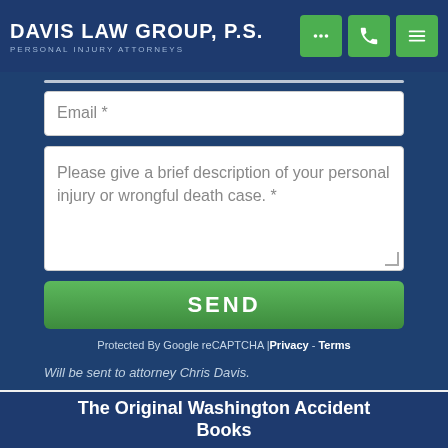DAVIS LAW GROUP, P.S. PERSONAL INJURY ATTORNEYS
Email *
Please give a brief description of your personal injury or wrongful death case. *
SEND
Protected By Google reCAPTCHA | Privacy - Terms
Will be sent to attorney Chris Davis.
The Original Washington Accident Books